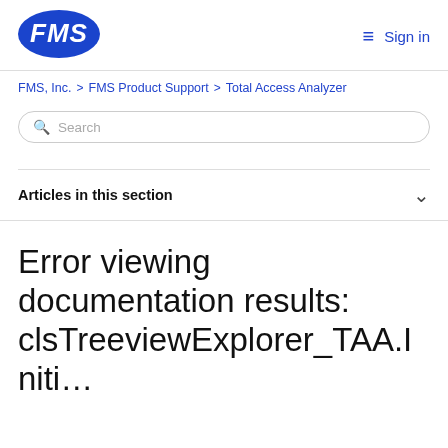[Figure (logo): FMS logo — blue oval with white FMS text]
≡  Sign in
FMS, Inc.  >  FMS Product Support  >  Total Access Analyzer
Search
Articles in this section
Error viewing documentation results: clsTreeviewExplorer_TAA.Initi…